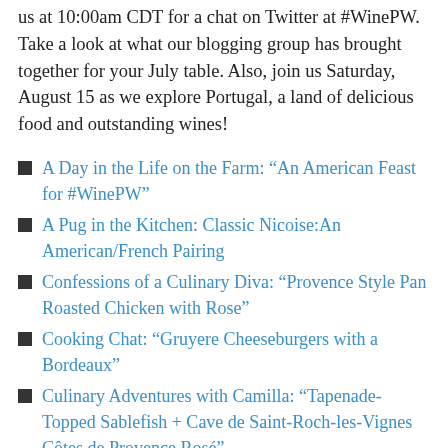us at 10:00am CDT for a chat on Twitter at #WinePW. Take a look at what our blogging group has brought together for your July table. Also, join us Saturday, August 15 as we explore Portugal, a land of delicious food and outstanding wines!
A Day in the Life on the Farm: “An American Feast for #WinePW”
A Pug in the Kitchen: Classic Nicoise:An American/French Pairing
Confessions of a Culinary Diva: “Provence Style Pan Roasted Chicken with Rose”
Cooking Chat: “Gruyere Cheeseburgers with a Bordeaux”
Culinary Adventures with Camilla: “Tapenade-Topped Sablefish + Cave de Saint-Roch-les-Vignes Côtes de Provence Rosé”